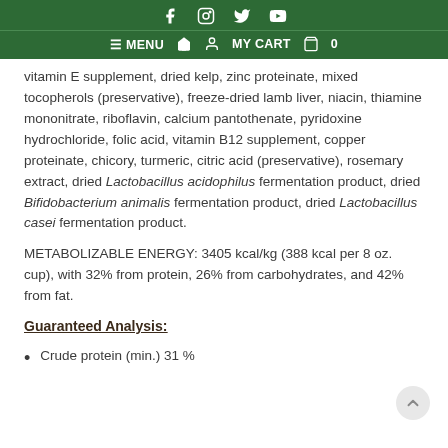f [instagram] [twitter] [youtube] ≡ MENU 🏠 👤 MY CART 🛒 0
vitamin E supplement, dried kelp, zinc proteinate, mixed tocopherols (preservative), freeze-dried lamb liver, niacin, thiamine mononitrate, riboflavin, calcium pantothenate, pyridoxine hydrochloride, folic acid, vitamin B12 supplement, copper proteinate, chicory, turmeric, citric acid (preservative), rosemary extract, dried Lactobacillus acidophilus fermentation product, dried Bifidobacterium animalis fermentation product, dried Lactobacillus casei fermentation product.
METABOLIZABLE ENERGY: 3405 kcal/kg (388 kcal per 8 oz. cup), with 32% from protein, 26% from carbohydrates, and 42% from fat.
Guaranteed Analysis:
Crude protein (min.) 31 %